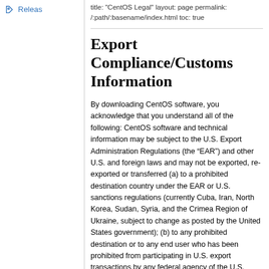Releas
title: "CentOS Legal" layout: page permalink: /:path/:basename/index.html toc: true
Export Compliance/Customs Information
By downloading CentOS software, you acknowledge that you understand all of the following: CentOS software and technical information may be subject to the U.S. Export Administration Regulations (the “EAR”) and other U.S. and foreign laws and may not be exported, re-exported or transferred (a) to a prohibited destination country under the EAR or U.S. sanctions regulations (currently Cuba, Iran, North Korea, Sudan, Syria, and the Crimea Region of Ukraine, subject to change as posted by the United States government); (b) to any prohibited destination or to any end user who has been prohibited from participating in U.S. export transactions by any federal agency of the U.S. government; or (c) for use in connection with the design, development or